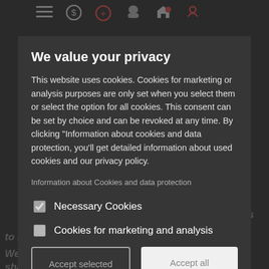[Figure (screenshot): Website cookie consent modal dialog on a dark background. The modal contains a title, body text, a link, two checkboxes, and two buttons.]
We value your privacy
This website uses cookies. Cookies for marketing or analysis purposes are only set when you select them or select the option for all cookies. This consent can be set by choice and can be revoked at any time. By clicking "Information about cookies and data protection, you'll get detailed information about used cookies and our privacy policy.
Information about Cookies and data protection
Necessary Cookies
Cookies for marketing and analysis
Accept selected
Accept all